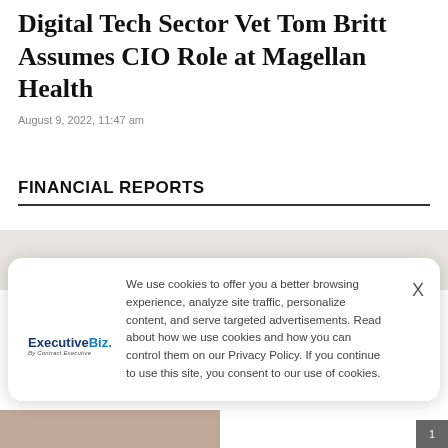Digital Tech Sector Vet Tom Britt Assumes CIO Role at Magellan Health
August 9, 2022, 11:47 am
FINANCIAL REPORTS
[Figure (other): Cookie consent banner overlay with ExecutiveBiz logo on left, cookie policy text in center, and X close button on right. Grey background strip visible behind banner. Partial photo of person visible at bottom left.]
We use cookies to offer you a better browsing experience, analyze site traffic, personalize content, and serve targeted advertisements. Read about how we use cookies and how you can control them on our Privacy Policy. If you continue to use this site, you consent to our use of cookies.